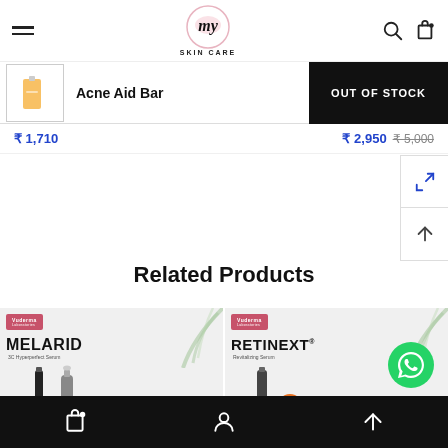[Figure (screenshot): My Skin Care e-commerce website header with hamburger menu, logo, search and cart icons]
Acne Aid Bar
OUT OF STOCK
₹ 1,710
₹ 2,950  ₹ 5,000
Related Products
[Figure (photo): Melarid product card showing Vuderma Laboratories branding with serum bottles]
[Figure (photo): Retinext product card showing Vuderma Laboratories branding with serum bottle]